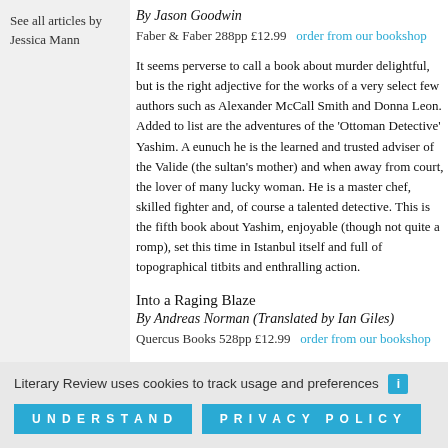See all articles by Jessica Mann
By Jason Goodwin
Faber & Faber 288pp £12.99   order from our bookshop
It seems perverse to call a book about murder delightful, but is the right adjective for the works of a very select few authors such as Alexander McCall Smith and Donna Leon. Added to list are the adventures of the 'Ottoman Detective' Yashim. A eunuch he is the learned and trusted adviser of the Valide (the sultan's mother) and when away from court, the lover of many lucky woman. He is a master chef, skilled fighter and, of course a talented detective. This is the fifth book about Yashim, enjoyable (though not quite a romp), set this time in Istanbul itself and full of topographical titbits and enthralling action.
Into a Raging Blaze
By Andreas Norman (Translated by Ian Giles)
Quercus Books 528pp £12.99   order from our bookshop
This book is an excellent and very up-to-the-minute novel by Swedish author, set in Stockholm and Brussels, in which the
Literary Review uses cookies to track usage and preferences  UNDERSTAND  PRIVACY POLICY